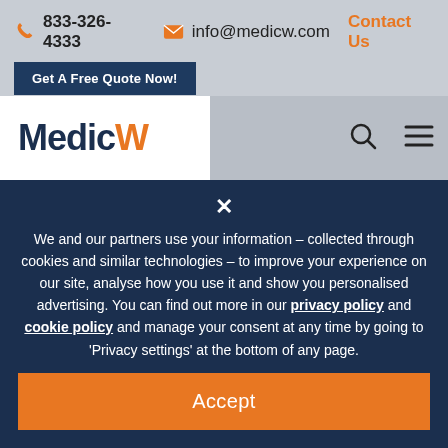833-326-4333  info@medicw.com  Contact Us
Get A Free Quote Now!
[Figure (logo): MedicW logo — 'Medic' in dark navy, 'W' in orange, with search and hamburger menu icons on the right]
× We and our partners use your information – collected through cookies and similar technologies – to improve your experience on our site, analyse how you use it and show you personalised advertising. You can find out more in our privacy policy and cookie policy and manage your consent at any time by going to 'Privacy settings' at the bottom of any page.
Accept